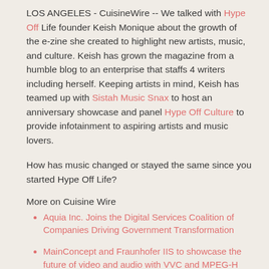LOS ANGELES - CuisineWire -- We talked with Hype Off Life founder Keish Monique about the growth of the e-zine she created to highlight new artists, music, and culture. Keish has grown the magazine from a humble blog to an enterprise that staffs 4 writers including herself. Keeping artists in mind, Keish has teamed up with Sistah Music Snax to host an anniversary showcase and panel Hype Off Culture to provide infotainment to aspiring artists and music lovers.
How has music changed or stayed the same since you started Hype Off Life?
More on Cuisine Wire
Aquia Inc. Joins the Digital Services Coalition of Companies Driving Government Transformation
MainConcept and Fraunhofer IIS to showcase the future of video and audio with VVC and MPEG-H Audio